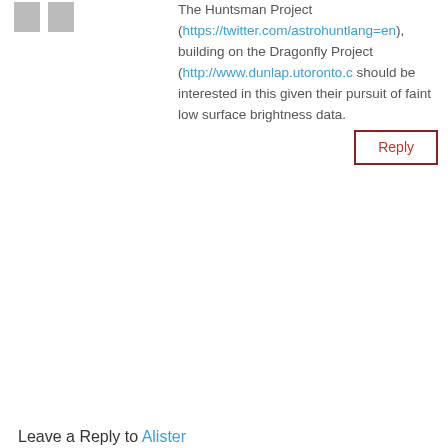The Huntsman Project (https://twitter.com/astrohunt...lang=en), building on the Dragonfly Project (http://www.dunlap.utoronto.c...) should be interested in this given their pursuit of faint low surface brightness data.
Reply
Leave a Reply to Alister